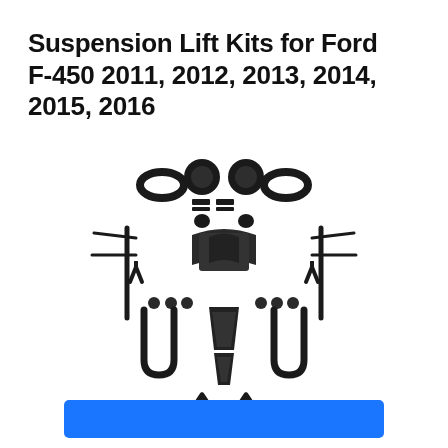Suspension Lift Kits for Ford F-450 2011, 2012, 2013, 2014, 2015, 2016
[Figure (photo): Exploded view of a suspension lift kit for Ford F-450, showing various black components including spacers, U-bolts, brackets, hardware, and other lift kit parts laid out on a white background.]